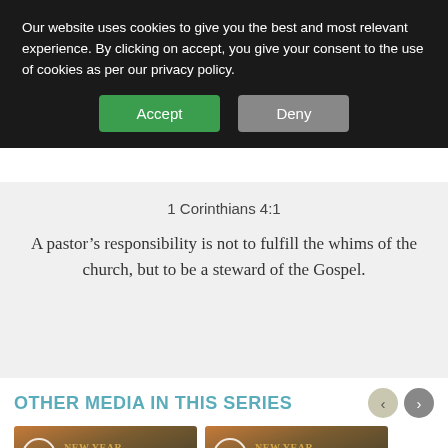Our website uses cookies to give you the best and most relevant experience. By clicking on accept, you give your consent to the use of cookies as per our privacy policy.
Accept | Deny
1 Corinthians 4:1
A pastor’s responsibility is not to fulfill the whims of the church, but to be a steward of the Gospel.
OTHER MEDIA IN THIS SERIES
[Figure (screenshot): Two video thumbnails labeled 'New Year New Study' with play buttons, showing a landscape scene.]